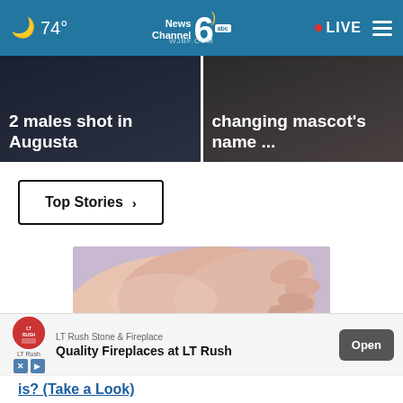🌙 74° | NewsChannel 6 abc WJBF.COM | • LIVE ≡
2 males shot in Augusta
changing mascot's name ...
Top Stories ›
[Figure (photo): Close-up photo of a hand examining a skin mole on someone's back, with a purple background]
LT Rush Stone & Fireplace — Quality Fireplaces at LT Rush — Open
is? (Take a Look)